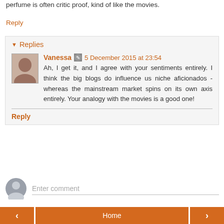perfume is often critic proof, kind of like the movies.
Reply
Replies
Vanessa  5 December 2015 at 23:54
Ah, I get it, and I agree with your sentiments entirely. I think the big blogs do influence us niche aficionados - whereas the mainstream market spins on its own axis entirely. Your analogy with the movies is a good one!
Reply
Enter comment
Home